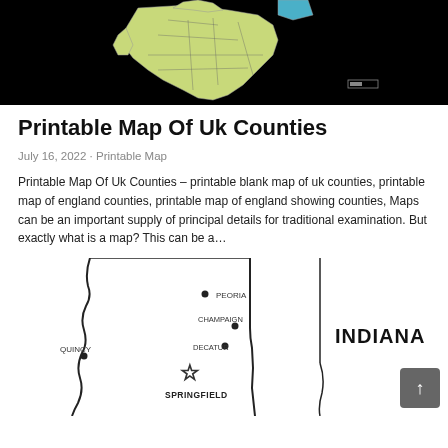[Figure (map): Top portion of a UK counties map on a black background, showing county outlines in yellow-green with a small blue region visible in the upper right]
Printable Map Of Uk Counties
July 16, 2022 · Printable Map
Printable Map Of Uk Counties – printable blank map of uk counties, printable map of england counties, printable map of england showing counties, Maps can be an important supply of principal details for traditional examination. But exactly what is a map? This can be a…
[Figure (map): Bottom portion showing a partial map of Illinois/Indiana with city labels including Peoria, Champaign, Decatur, Quincy, Springfield (with star marker), and Indiana label on the right side. A scroll-to-top arrow button is visible in the lower right.]